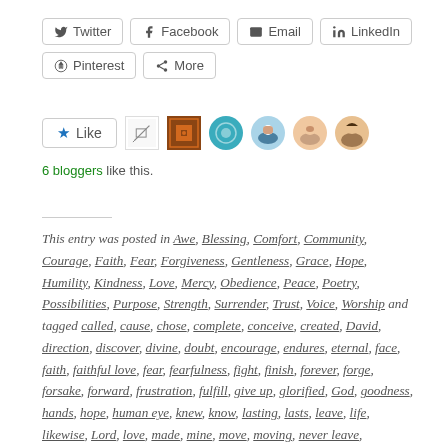[Figure (infographic): Social share buttons: Twitter, Facebook, Email, LinkedIn, Pinterest, More]
[Figure (infographic): Like button with 6 blogger avatars]
6 bloggers like this.
This entry was posted in Awe, Blessing, Comfort, Community, Courage, Faith, Fear, Forgiveness, Gentleness, Grace, Hope, Humility, Kindness, Love, Mercy, Obedience, Peace, Poetry, Possibilities, Purpose, Strength, Surrender, Trust, Voice, Worship and tagged called, cause, chose, complete, conceive, created, David, direction, discover, divine, doubt, encourage, endures, eternal, face, faith, faithful love, fear, fearfulness, fight, finish, forever, forge, forsake, forward, frustration, fulfill, give up, glorified, God, goodness, hands, hope, human eye, knew, know, lasting, lasts, leave, life, likewise, Lord, love, made, mine, move, moving, never leave,